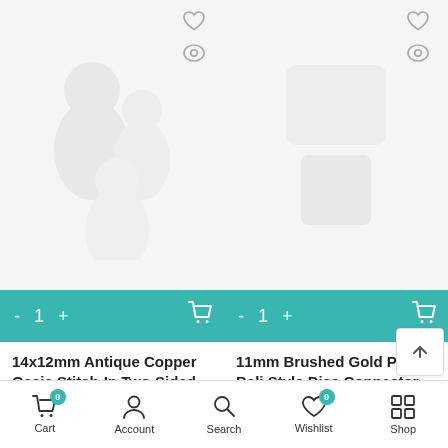[Figure (screenshot): Product card 1: placeholder image for 14x12mm Antique Copper Oasis Stitch-In Two-Sided Link By TierraCast - TC02705 with wishlist heart icon and quick view eye icon]
[Figure (screenshot): Product card 2: placeholder image for 11mm Brushed Gold Plated Bali Style Disc Connector - Z010751 with wishlist heart icon and quick view eye icon]
- 1 + [cart] (Add to cart bar for product 1)
- 1 + [cart] (Add to cart bar for product 2)
14x12mm Antique Copper Oasis Stitch-In Two-Sided Link By TierraCast - TC02705
11mm Brushed Gold Plated Bali Style Disc Connector - Z010751
$2.49
Cart 0  Account  Search  Wishlist 0  Shop